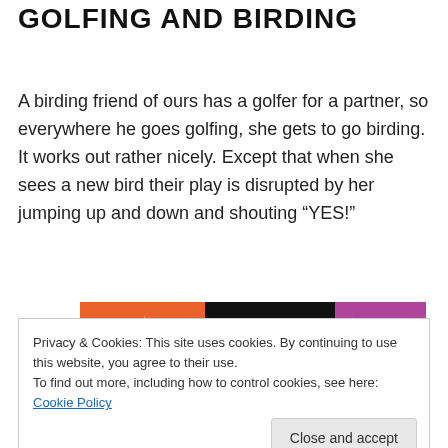GOLFING AND BIRDING
A birding friend of ours has a golfer for a partner, so everywhere he goes golfing, she gets to go birding. It works out rather nicely. Except that when she sees a new bird their play is disrupted by her jumping up and down and shouting “YES!”
[Figure (logo): Tumblr logo banner with orange left section and purple right section, black center with white 'tumblr' text]
Privacy & Cookies: This site uses cookies. By continuing to use this website, you agree to their use.
To find out more, including how to control cookies, see here: Cookie Policy